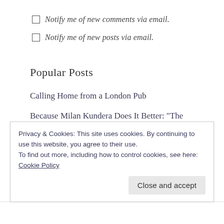Notify me of new comments via email.
Notify me of new posts via email.
Popular Posts
Calling Home from a London Pub
Because Milan Kundera Does It Better: "The Hitchhiking Game"
Love, a Facet
Writing Advice: John Cheever on How To Write a
Privacy & Cookies: This site uses cookies. By continuing to use this website, you agree to their use.
To find out more, including how to control cookies, see here: Cookie Policy
Close and accept